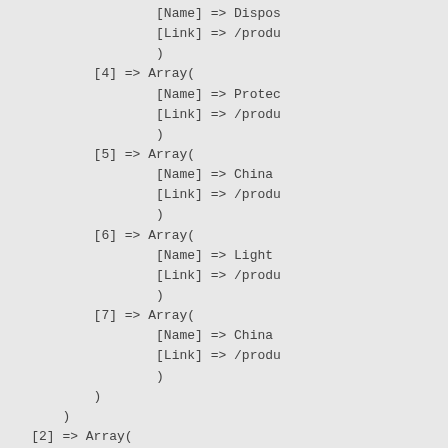[Name] => Dispos
[Link] => /produ
)
[4] => Array(
        [Name] => Protec
        [Link] => /produ
        )
[5] => Array(
        [Name] => China
        [Link] => /produ
        )
[6] => Array(
        [Name] => Light
        [Link] => /produ
        )
[7] => Array(
        [Name] => China
        [Link] => /produ
        )
)
)
[2] => Array(
        [Name] => Disposable coveralls
        [Link] => /products/Disposable